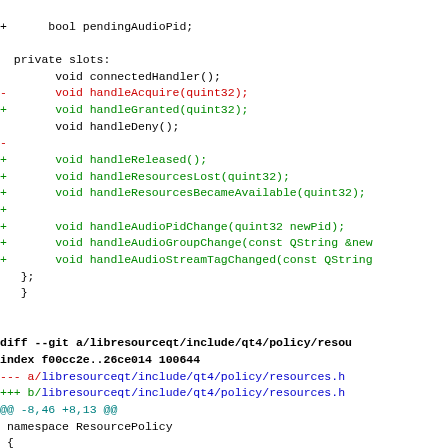Code diff showing private slots and diff header for libresourceqt/include/qt4/policy/resources.h
diff --git a/libresourceqt/include/qt4/policy/resou
index f00cc2e..26ce014 100644
--- a/libresourceqt/include/qt4/policy/resources.h
+++ b/libresourceqt/include/qt4/policy/resources.h
@@ -8,46 +8,13 @@
 namespace ResourcePolicy
 {

-class AudioResource: public Resource
-{
-public:
-    AudioResource(const QString &audioGroup = QStr